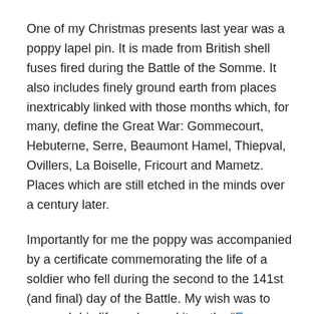One of my Christmas presents last year was a poppy lapel pin. It is made from British shell fuses fired during the Battle of the Somme. It also includes finely ground earth from places inextricably linked with those months which, for many, define the Great War: Gommecourt, Hebuterne, Serre, Beaumont Hamel, Thiepval, Ovillers, La Boiselle, Fricourt and Mametz. Places which are still etched in the minds over a century later.
Importantly for me the poppy was accompanied by a certificate commemorating the life of a soldier who fell during the second to the 141st (and final) day of the Battle. My wish was to research his life and record it on the "Every Man Remembered" site. It did not work out quite as anticipated. I researched more than one life, in what proved to be a series of deaths which in a matter of